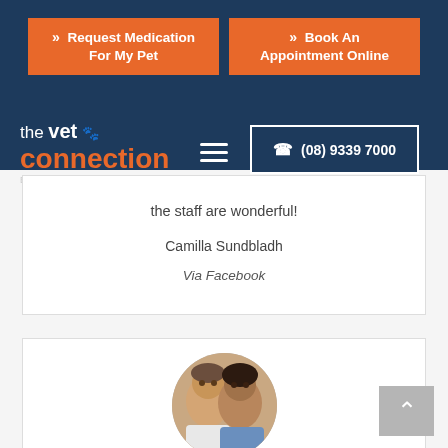Request Medication For My Pet | Book An Appointment Online | (08) 9339 7000
[Figure (logo): The Vet Connection East Fremantle logo — white and orange text on dark blue background]
the staff are wonderful!
Camilla Sundbladh
Via Facebook
[Figure (photo): Circular profile photo of a man and woman smiling, used as testimonial avatar]
Very happy with the care